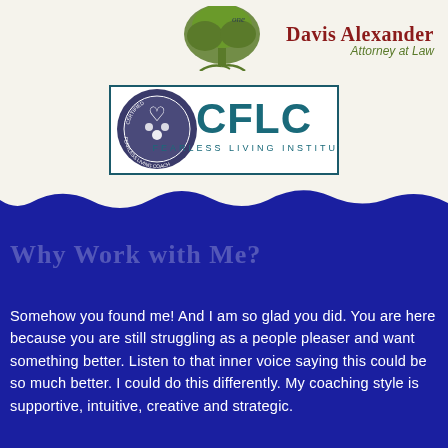[Figure (logo): Tree logo and Davis Alexander Attorney at Law text logo in top right corner]
[Figure (logo): CFLC Fearless Living Institute certified coach badge/logo]
Why Work with Me?
Somehow you found me!  And I am so glad you did.  You are here because you are still struggling as a people pleaser and want something better.   Listen to that inner voice saying this could be so much better.  I could do this differently.   My coaching style is supportive, intuitive, creative and strategic.